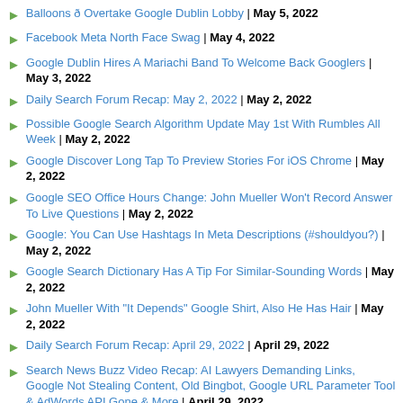Balloons ð Overtake Google Dublin Lobby | May 5, 2022
Facebook Meta North Face Swag | May 4, 2022
Google Dublin Hires A Mariachi Band To Welcome Back Googlers | May 3, 2022
Daily Search Forum Recap: May 2, 2022 | May 2, 2022
Possible Google Search Algorithm Update May 1st With Rumbles All Week | May 2, 2022
Google Discover Long Tap To Preview Stories For iOS Chrome | May 2, 2022
Google SEO Office Hours Change: John Mueller Won't Record Answer To Live Questions | May 2, 2022
Google: You Can Use Hashtags In Meta Descriptions (#shouldyou?) | May 2, 2022
Google Search Dictionary Has A Tip For Similar-Sounding Words | May 2, 2022
John Mueller With "It Depends" Google Shirt, Also He Has Hair | May 2, 2022
Daily Search Forum Recap: April 29, 2022 | April 29, 2022
Search News Buzz Video Recap: AI Lawyers Demanding Links, Google Not Stealing Content, Old Bingbot, Google URL Parameter Tool & AdWords API Gone & More | April 29, 2022
Old BingBot User-Agent To Stop Being Used In Fall 2022 | April 29, 2022
Google Search Console Caches Inspection Tool Live Test URLs For 90 Days | April 29, 2022
Google Asked If You Should Avoid Naming Your Company Or Product 404? | April 29, 2022
People Search Term Makes Search Tabs Too Clicked For Local Results | April 29, 2022